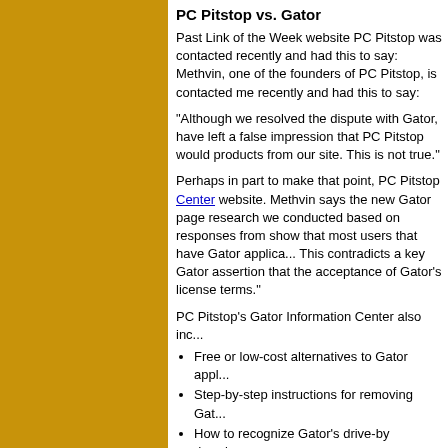PC Pitstop vs. Gator
Past Link of the Week website PC Pitstop was contacted recently and had this to say: Methvin, one of the founders of PC Pitstop, is contacted me recently and had this to say:
"Although we resolved the dispute with Gator, have left a false impression that PC Pitstop would products from our site. This is not true."
Perhaps in part to make that point, PC Pitstop Center website. Methvin says the new Gator page research we conducted based on responses from show that most users that have Gator applications. This contradicts a key Gator assertion that the acceptance of Gator's license terms."
PC Pitstop's Gator Information Center also includes:
Free or low-cost alternatives to Gator applications
Step-by-step instructions for removing Gator
How to recognize Gator's drive-by downloads
A link for complaints to the U.S. Federal Trade Commission
An interactive quiz about Gator's terms and conditions
Back to the Top
DSL Chronicles - Leaping over DSL
Earlier this year I embarked on a quest to replace my SDSL service with a faster, much cheaper ADSL 1.5Mbps Verizon Online DSL service, which...